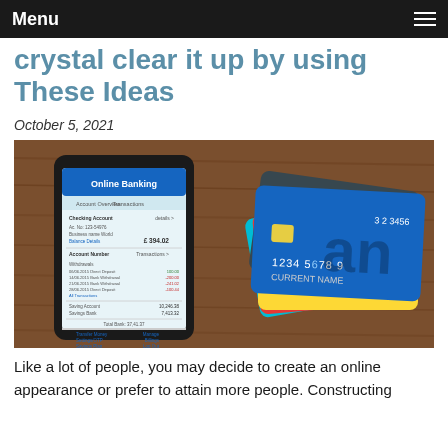Menu
crystal clear it up by using These Ideas
October 5, 2021
[Figure (photo): A smartphone displaying an Online Banking app with account details, surrounded by a fan of credit cards (blue, gold, red, teal) on a wooden surface. The phone screen shows 'Online Banking' with account overview and transaction details including a balance of £394.02.]
Like a lot of people, you may decide to create an online appearance or prefer to attain more people. Constructing